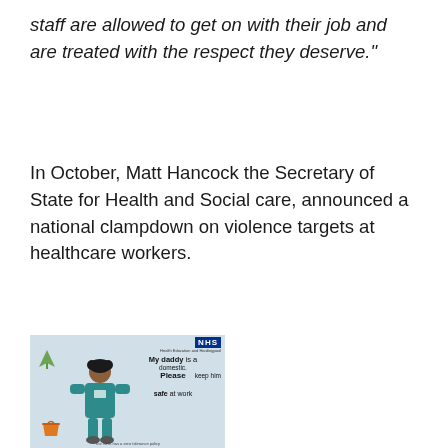staff are allowed to get on with their job and are treated with the respect they deserve."
In October, Matt Hancock the Secretary of State for Health and Social care, announced a national clampdown on violence targets at healthcare workers.
[Figure (photo): NHS poster showing a child in scrubs with text: 'My daddy is a domestic. Please keep him safe at work']